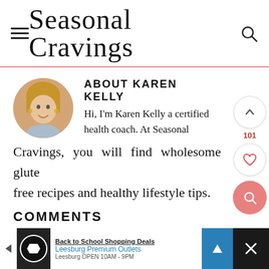Seasonal Cravings
ABOUT KAREN KELLY
Hi, I'm Karen Kelly a certified health coach. At Seasonal Cravings, you will find wholesome gluten free recipes and healthy lifestyle tips.
COMMENTS
[Figure (infographic): Advertisement banner for Leesburg Premium Outlets with Back to School Shopping Deals text, navigation arrow icon, and close button]
Back to School Shopping Deals
Leesburg Premium Outlets
Leesburg OPEN 10AM - 9PM